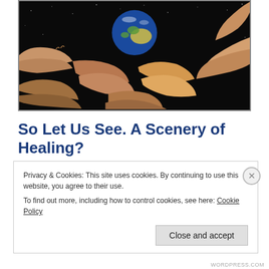[Figure (photo): Diverse hands of different skin tones clasping each other's wrists in a circle around a globe showing Australia and surrounding regions, against a dark/black starry background.]
So Let Us See. A Scenery of Healing?
Privacy & Cookies: This site uses cookies. By continuing to use this website, you agree to their use.
To find out more, including how to control cookies, see here: Cookie Policy
Close and accept